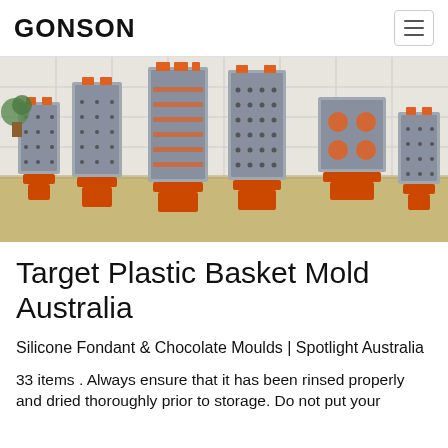GONSON
[Figure (photo): Multiple industrial plastic injection molds displayed on orange stands in a factory/showroom setting. The molds are metal, showing complex multi-cavity tooling in various sizes, arranged in a row against a white tiled wall.]
Target Plastic Basket Mold Australia
Silicone Fondant & Chocolate Moulds | Spotlight Australia
33 items . Always ensure that it has been rinsed properly and dried thoroughly prior to storage. Do not put your